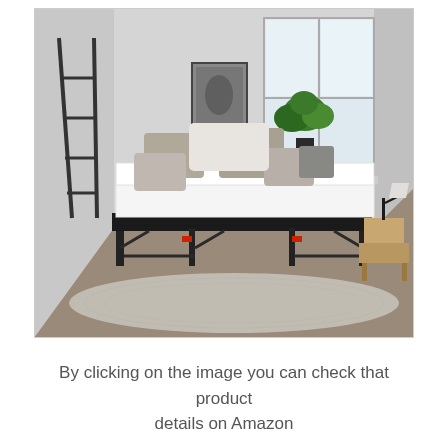[Figure (photo): A minimalist bedroom with a white mattress on a black metal platform bed frame. The room has light grey walls, a large window, a decorative ladder leaning against the wall, a framed art print, a potted monstera plant, and a small bedside table with a lamp. The bed has grey pillows and the floor has a light grey area rug.]
By clicking on the image you can check that product details on Amazon